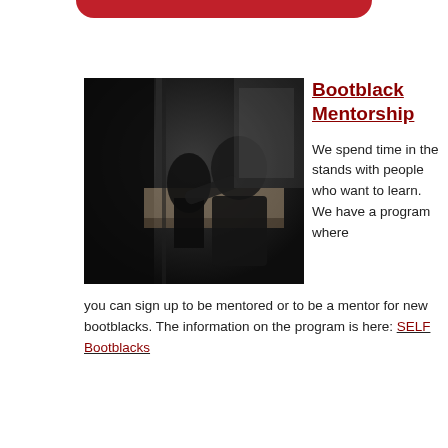[Figure (photo): Dark photo of a person (viewed from behind/side) performing bootblack work at a stand, silhouetted against a lighter background]
Bootblack Mentorship
We spend time in the stands with people who want to learn. We have a program where you can sign up to be mentored or to be a mentor for new bootblacks. The information on the program is here: SELF Bootblacks